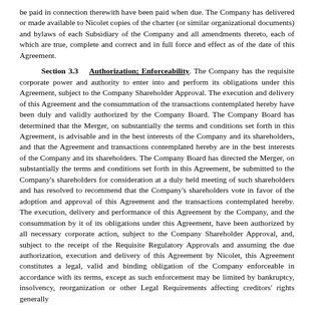be paid in connection therewith have been paid when due. The Company has delivered or made available to Nicolet copies of the charter (or similar organizational documents) and bylaws of each Subsidiary of the Company and all amendments thereto, each of which are true, complete and correct and in full force and effect as of the date of this Agreement.
Section 3.3 Authorization; Enforceability. The Company has the requisite corporate power and authority to enter into and perform its obligations under this Agreement, subject to the Company Shareholder Approval. The execution and delivery of this Agreement and the consummation of the transactions contemplated hereby have been duly and validly authorized by the Company Board. The Company Board has determined that the Merger, on substantially the terms and conditions set forth in this Agreement, is advisable and in the best interests of the Company and its shareholders, and that the Agreement and transactions contemplated hereby are in the best interests of the Company and its shareholders. The Company Board has directed the Merger, on substantially the terms and conditions set forth in this Agreement, be submitted to the Company's shareholders for consideration at a duly held meeting of such shareholders and has resolved to recommend that the Company's shareholders vote in favor of the adoption and approval of this Agreement and the transactions contemplated hereby. The execution, delivery and performance of this Agreement by the Company, and the consummation by it of its obligations under this Agreement, have been authorized by all necessary corporate action, subject to the Company Shareholder Approval, and, subject to the receipt of the Requisite Regulatory Approvals and assuming the due authorization, execution and delivery of this Agreement by Nicolet, this Agreement constitutes a legal, valid and binding obligation of the Company enforceable in accordance with its terms, except as such enforcement may be limited by bankruptcy, insolvency, reorganization or other Legal Requirements affecting creditors' rights generally